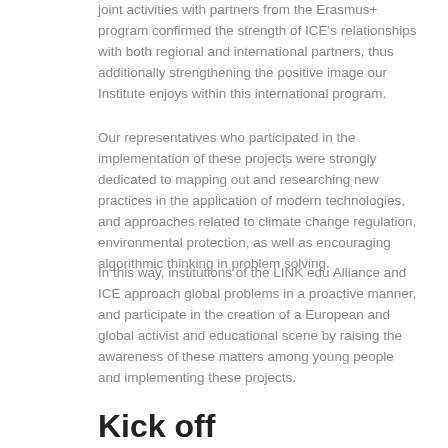joint activities with partners from the Erasmus+ program confirmed the strength of ICE's relationships with both regional and international partners, thus additionally strengthening the positive image our Institute enjoys within this international program.
Our representatives who participated in the implementation of these projects were strongly dedicated to mapping out and researching new practices in the application of modern technologies, and approaches related to climate change regulation, environmental protection, as well as encouraging algorithmic thinking in problem solving.
In this way, institutions of the LINK edu Alliance and ICE approach global problems in a proactive manner, and participate in the creation of a European and global activist and educational scene by raising the awareness of these matters among young people and implementing these projects.
Kick off